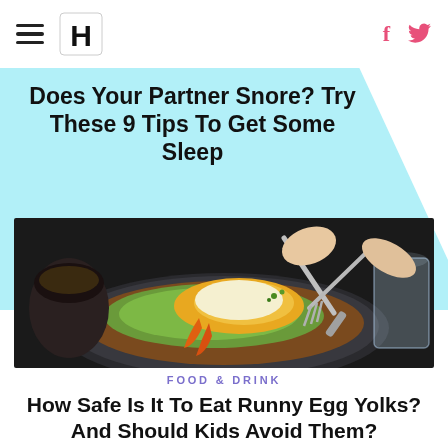HuffPost navigation with hamburger menu, logo, facebook and twitter icons
Does Your Partner Snore? Try These 9 Tips To Get Some Sleep
[Figure (photo): A plate of eggs benedict with avocado on toast, being cut with a knife and fork by a person's hands. Dark plate on dark table, with a glass visible in background.]
FOOD & DRINK
How Safe Is It To Eat Runny Egg Yolks? And Should Kids Avoid Them?